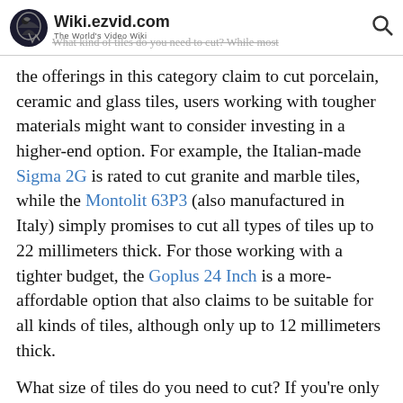Wiki.ezvid.com — The World's Video Wiki
the offerings in this category claim to cut porcelain, ceramic and glass tiles, users working with tougher materials might want to consider investing in a higher-end option. For example, the Italian-made Sigma 2G is rated to cut granite and marble tiles, while the Montolit 63P3 (also manufactured in Italy) simply promises to cut all types of tiles up to 22 millimeters thick. For those working with a tighter budget, the Goplus 24 Inch is a more-affordable option that also claims to be suitable for all kinds of tiles, although only up to 12 millimeters thick.
What size of tiles do you need to cut? If you're only working with small tiles, say less than 20 inches in length, then this might be an inconsequential